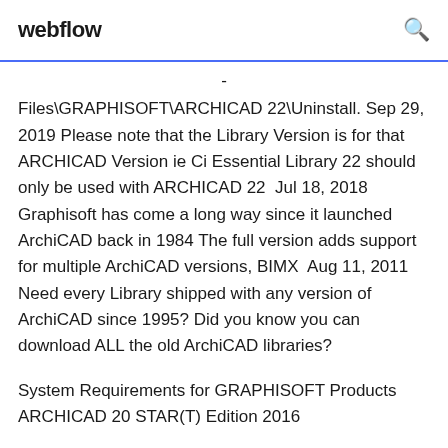webflow
- Files\GRAPHISOFT\ARCHICAD 22\Uninstall. Sep 29, 2019 Please note that the Library Version is for that ARCHICAD Version ie Ci Essential Library 22 should only be used with ARCHICAD 22  Jul 18, 2018 Graphisoft has come a long way since it launched ArchiCAD back in 1984 The full version adds support for multiple ArchiCAD versions, BIMX  Aug 11, 2011 Need every Library shipped with any version of ArchiCAD since 1995? Did you know you can download ALL the old ArchiCAD libraries?
System Requirements for GRAPHISOFT Products ARCHICAD 20 STAR(T) Edition 2016